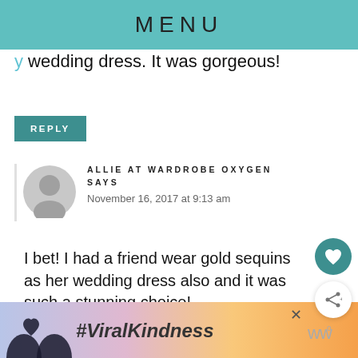MENU
wedding dress. It was gorgeous!
REPLY
ALLIE AT WARDROBE OXYGEN SAYS
November 16, 2017 at 9:13 am
I bet! I had a friend wear gold sequins as her wedding dress also and it was such a stunning choice!
[Figure (other): Advertisement banner with hands making a heart shape over a sunset background, text #ViralKindness, with a close button and a logo]